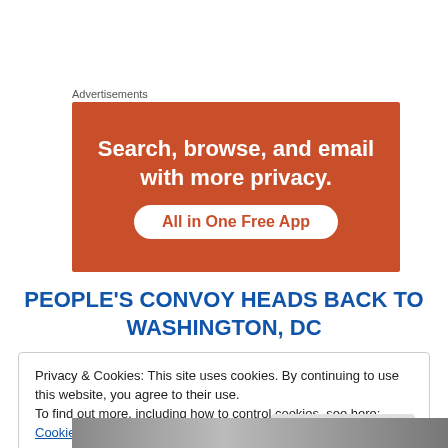Advertisements
[Figure (illustration): Orange/red advertisement banner with white bold text reading 'Search, browse, and email with more privacy.' and a white pill-shaped button with orange text 'All in One Free App']
PEOPLE'S CONVOY HEADS BACK TO WASHINGTON, DC
Privacy & Cookies: This site uses cookies. By continuing to use this website, you agree to their use.
To find out more, including how to control cookies, see here: Cookie Policy
Close and accept
[Figure (photo): Bottom strip of a photo showing vehicles, partially visible]